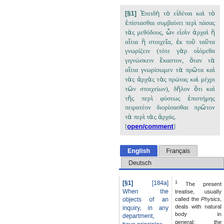[§1] Ἐπειδὴ τὸ εἰδέναι καὶ τὸ ἐπίστασθαι συμβαίνει περὶ πάσας τὰς μεθόδους, ὧν εἰσὶν ἀρχαὶ ἢ αἴτια ἢ στοιχεῖα, ἐκ τοῦ ταῦτα γνωρίζειν (τότε γὰρ οἰόμεθα γιγνώσκειν ἕκαστον, ὅταν τὰ αἴτια γνωρίσωμεν τὰ πρῶτα καὶ τὰς ἀρχὰς τὰς πρώτας καὶ μέχρι τῶν στοιχείων), δῆλον ὅτι καὶ τῆς περὶ φύσεως ἐπιστήμης πειρατέον διορίσασθαι πρῶτον τὰ περὶ τὰς ἀρχάς. [open/comment]
[Figure (screenshot): Language tab interface with English (active/blue), Français, and Deutsch tabs]
[§1] [184a] When the objects of an inquiry, in any department, have principles,
1 The present treatise, usually called the Physics, deals with natural body in general: the special kinds are discussed in Aristotle's